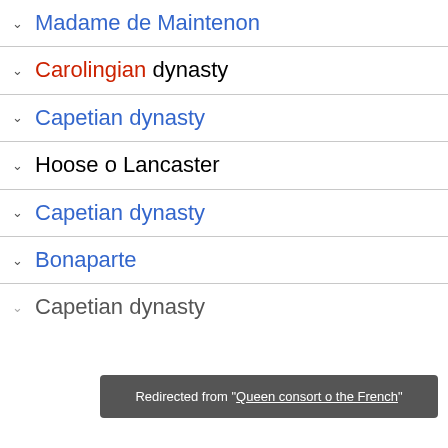∨ Madame de Maintenon
∨ Carolingian dynasty
∨ Capetian dynasty
∨ Hoose o Lancaster
∨ Capetian dynasty
∨ Bonaparte
∨ Capetian dynasty
Redirected from "Queen consort o the French"